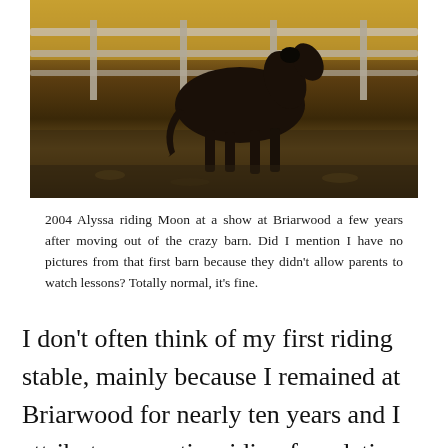[Figure (photo): A dark horse walking near a white fence. The background shows warm golden and brown tones, likely outdoors at a show or stable. Photo is taken from 2004.]
2004 Alyssa riding Moon at a show at Briarwood a few years after moving out of the crazy barn. Did I mention I have no pictures from that first barn because they didn't allow parents to watch lessons? Totally normal, it's fine.
I don't often think of my first riding stable, mainly because I remained at Briarwood for nearly ten years and I attribute my entire riding foundation to them. I think I've also